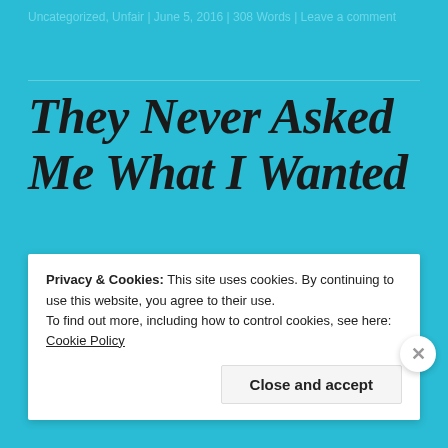Uncategorized, Unfair | June 5, 2016 | 308 Words | Leave a comment
They Never Asked Me What I Wanted
You hear or see on television, how parents or grandparents ask children what do you want to be when you grow up?
Privacy & Cookies: This site uses cookies. By continuing to use this website, you agree to their use.
To find out more, including how to control cookies, see here: Cookie Policy